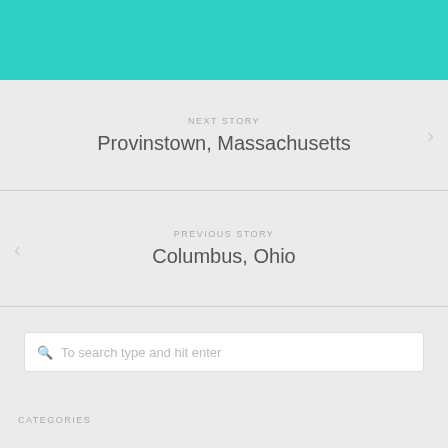[Figure (other): Teal/turquoise colored header bar]
NEXT STORY
Provinstown, Massachusetts
PREVIOUS STORY
Columbus, Ohio
To search type and hit enter
CATEGORIES